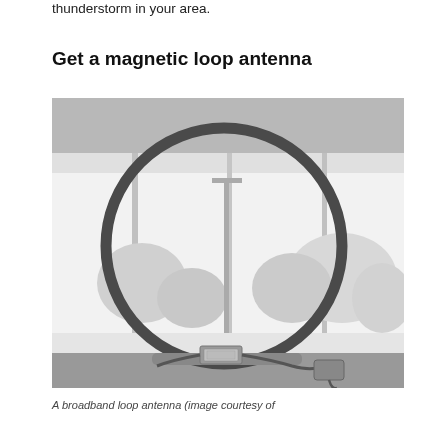thunderstorm in your area.
Get a magnetic loop antenna
[Figure (photo): A broadband magnetic loop antenna — a large circular loop of cable mounted on a stand placed on a windowsill, with a small electronic box at the base and a cable attached to an adapter. The background shows trees and outdoor scenery through a window. The image is in black and white.]
A broadband loop antenna (image courtesy of